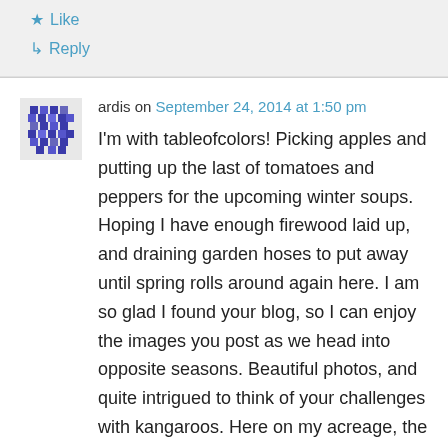★ Like
↳ Reply
ardis on September 24, 2014 at 1:50 pm
I'm with tableofcolors! Picking apples and putting up the last of tomatoes and peppers for the upcoming winter soups. Hoping I have enough firewood laid up, and draining garden hoses to put away until spring rolls around again here. I am so glad I found your blog, so I can enjoy the images you post as we head into opposite seasons. Beautiful photos, and quite intrigued to think of your challenges with kangaroos. Here on my acreage, the challenges come from being